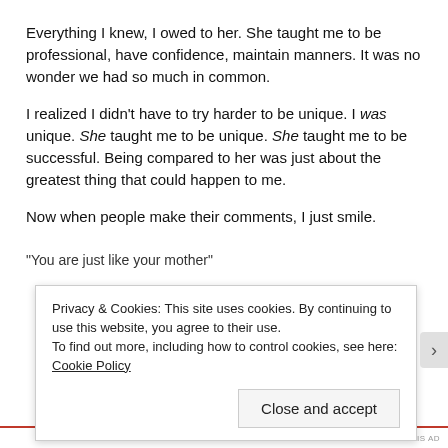Everything I knew, I owed to her.  She taught me to be professional, have confidence, maintain manners.  It was no wonder we had so much in common.
I realized I didn't have to try harder to be unique.  I was unique.  She taught me to be unique.  She taught me to be successful.  Being compared to her was just about the greatest thing that could happen to me.
Now when people make their comments, I just smile.
"You are just like your mother"
Privacy & Cookies: This site uses cookies. By continuing to use this website, you agree to their use.
To find out more, including how to control cookies, see here: Cookie Policy
Close and accept